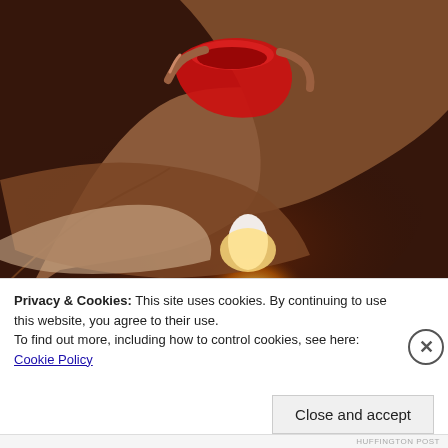[Figure (photo): Close-up photo of hands holding a red votive candle with a glowing orange candle flame visible in the dark background below]
Privacy & Cookies: This site uses cookies. By continuing to use this website, you agree to their use.
To find out more, including how to control cookies, see here: Cookie Policy
HUFFINGTON POST